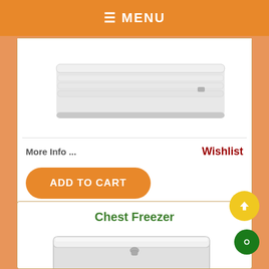≡ MENU
[Figure (photo): Partial view of a white chest-style freezer or cooler, showing the ribbed white lid from an angle, partially cropped at top of card]
More Info ...
Wishlist
ADD TO CART
Chest Freezer
[Figure (photo): White chest freezer with flat lid and front latch/lock, brand label visible on front, shown from a slight angle]